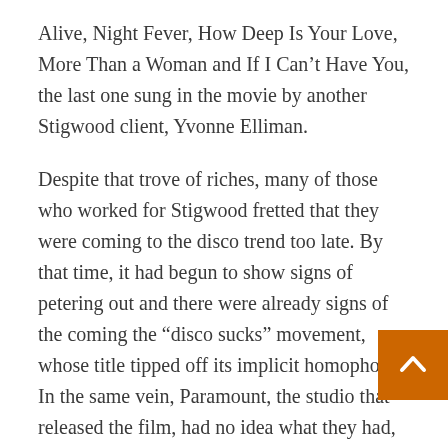Alive, Night Fever, How Deep Is Your Love, More Than a Woman and If I Can't Have You, the last one sung in the movie by another Stigwood client, Yvonne Elliman.
Despite that trove of riches, many of those who worked for Stigwood fretted that they were coming to the disco trend too late. By that time, it had begun to show signs of petering out and there were already signs of the coming the “disco sucks” movement, whose title tipped off its implicit homophobia. In the same vein, Paramount, the studio that released the film, had no idea what they had, despite the brilliance of the Bee Gees’ songs, the dynamism of Travolta’s performance and the sociological acuity of Norman Wexler’s script. Executives like Barry Diller and Michael Eisner hated the darkness in the well as the prolific use of the “f” word by its characters. True to form, Stigwood used their cluelessness to